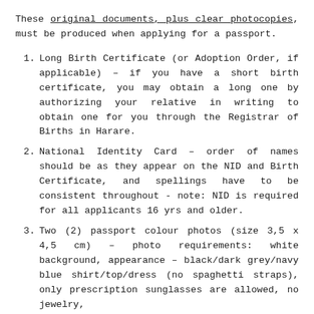These original documents, plus clear photocopies, must be produced when applying for a passport.
Long Birth Certificate (or Adoption Order, if applicable) – if you have a short birth certificate, you may obtain a long one by authorizing your relative in writing to obtain one for you through the Registrar of Births in Harare.
National Identity Card – order of names should be as they appear on the NID and Birth Certificate, and spellings have to be consistent throughout - note: NID is required for all applicants 16 yrs and older.
Two (2) passport colour photos (size 3,5 x 4,5 cm) – photo requirements: white background, appearance – black/dark grey/navy blue shirt/top/dress (no spaghetti straps), only prescription sunglasses are allowed, no jewelry,